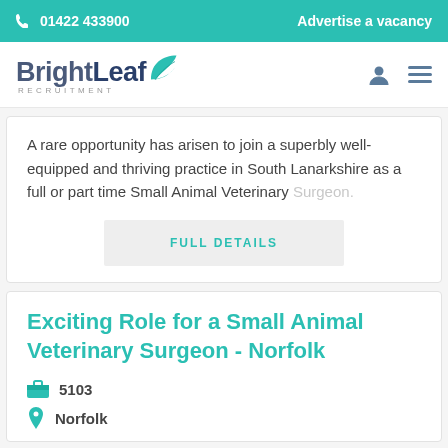📞 01422 433900   Advertise a vacancy
[Figure (logo): BrightLeaf Recruitment logo with teal leaf icon and 'RECRUITMENT' text below]
A rare opportunity has arisen to join a superbly well-equipped and thriving practice in South Lanarkshire as a full or part time Small Animal Veterinary Surgeon.
FULL DETAILS
Exciting Role for a Small Animal Veterinary Surgeon - Norfolk
5103
Norfolk